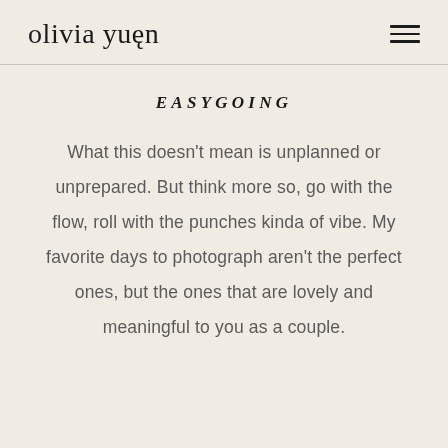olivia yuen
EASYGOING
What this doesn't mean is unplanned or unprepared. But think more so, go with the flow, roll with the punches kinda of vibe. My favorite days to photograph aren't the perfect ones, but the ones that are lovely and meaningful to you as a couple.